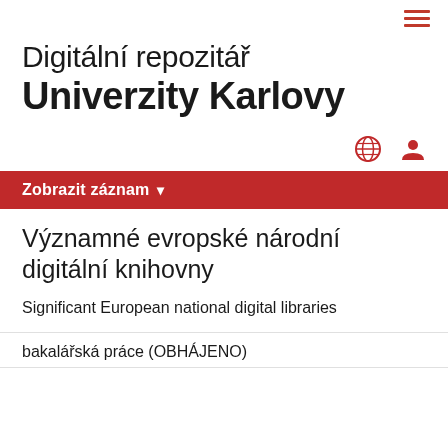[Figure (other): Hamburger menu icon (three red horizontal lines) in top right corner]
Digitální repozitář Univerzity Karlovy
[Figure (other): Globe icon and user/person icon in red, aligned to the right]
Zobrazit záznam ▾
Významné evropské národní digitální knihovny
Significant European national digital libraries
bakalářská práce (OBHÁJENO)